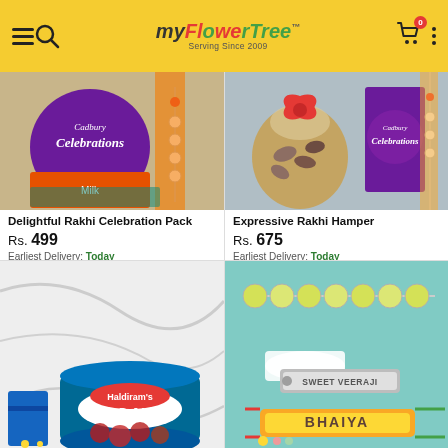MyFlowerTree™ — Serving Since 2009
[Figure (photo): Cadbury Celebrations chocolate box with a beaded rakhi, gift wrapped with decorative paper]
Delightful Rakhi Celebration Pack
Rs. 499
Earliest Delivery: Today
[Figure (photo): Cadbury Celebrations chocolate box with almonds in a bag tied with red ribbon, and a rakhi]
Expressive Rakhi Hamper
Rs. 675
Earliest Delivery: Today
[Figure (photo): Haldiram's Gulab Jamun tin can on white marble background with a blue gift box and small rakhi]
[Figure (photo): Personalized name rakhis reading SWEET VEERAJI and BHAIYA with golden pearl bracelet on teal background]